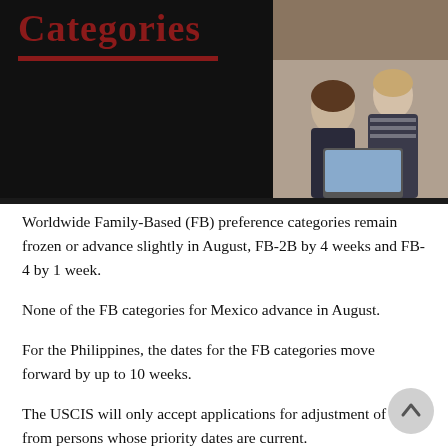[Figure (photo): Banner with bold red/brown 'Categories' title text on dark background, with a photo of two people looking at a laptop on the right side.]
Worldwide Family-Based (FB) preference categories remain frozen or advance slightly in August, FB-2B by 4 weeks and FB-4 by 1 week.
None of the FB categories for Mexico advance in August.
For the Philippines, the dates for the FB categories move forward by up to 10 weeks.
The USCIS will only accept applications for adjustment of status from persons whose priority dates are current.
The chart below tells the story in detail:
A. APPLICATION FINAL ACTION DATES FOR FAMILY-